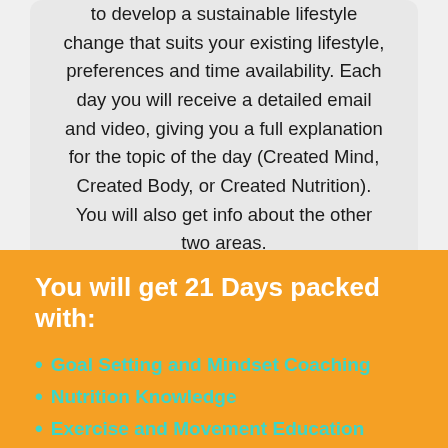to develop a sustainable lifestyle change that suits your existing lifestyle, preferences and time availability. Each day you will receive a detailed email and video, giving you a full explanation for the topic of the day (Created Mind, Created Body, or Created Nutrition). You will also get info about the other two areas.
You will get 21 Days packed with:
Goal Setting and Mindset Coaching
Nutrition Knowledge
Exercise and Movement Education